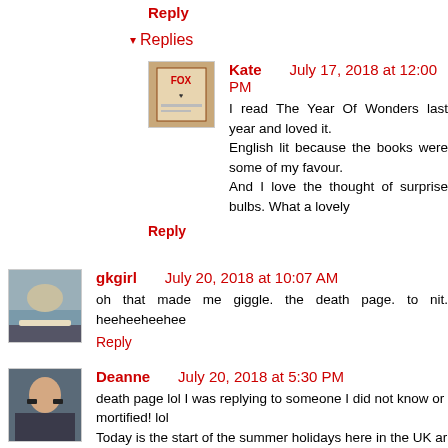Reply
▾ Replies
Kate    July 17, 2018 at 12:00 PM
I read The Year Of Wonders last year and loved it. English lit because the books were some of my favour. And I love the thought of surprise bulbs. What a lovely
Reply
gkgirl July 20, 2018 at 10:07 AM
oh that made me giggle. the death page. to nit. heeheeheehee
Reply
Deanne July 20, 2018 at 5:30 PM
death page lol I was replying to someone I did not know or mortified! lol
Today is the start of the summer holidays here in the UK an occupied, get fresh air, get off social media and the darn intern
Reply